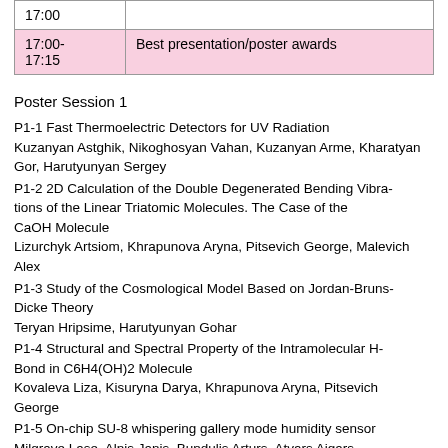| Time | Event |
| --- | --- |
| 17:00 |  |
| 17:00-17:15 | Best presentation/poster awards |
Poster Session 1
P1-1 Fast Thermoelectric Detectors for UV Radiation
Kuzanyan Astghik, Nikoghosyan Vahan, Kuzanyan Arme, Kharatyan
Gor, Harutyunyan Sergey
P1-2 2D Calculation of the Double Degenerated Bending Vibrations of the Linear Triatomic Molecules. The Case of the CaOH Molecule
Lizurchyk Artsiom, Khrapunova Aryna, Pitsevich George, Malevich
Alex
P1-3 Study of the Cosmological Model Based on Jordan-Bruns-Dicke Theory
Teryan Hripsime, Harutyunyan Gohar
P1-4 Structural and Spectral Property of the Intramolecular H-Bond in C6H4(OH)2 Molecule
Kovaleva Liza, Kisuryna Darya, Khrapunova Aryna, Pitsevich George
P1-5 On-chip SU-8 whispering gallery mode humidity sensor
Milgrave Lase, Alnis Janis, Bundulis Arturs, Atvars Aigars
P1-6 Predicting Optical Properties of Porous Anodized Aluminum Oxide Covered with Gold Nanoparticles by Finite-